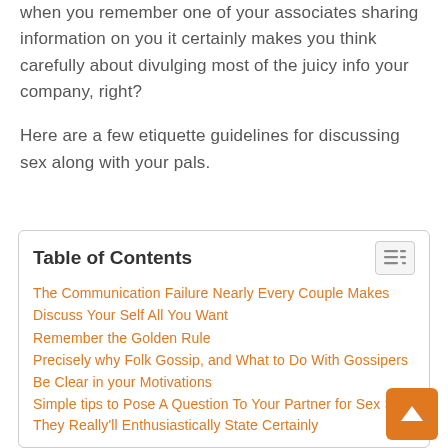when you remember one of your associates sharing information on you it certainly makes you think carefully about divulging most of the juicy info your company, right?
Here are a few etiquette guidelines for discussing sex along with your pals.
| Table of Contents |
| --- |
| The Communication Failure Nearly Every Couple Makes |
| Discuss Your Self All You Want |
| Remember the Golden Rule |
| Precisely why Folk Gossip, and What to Do With Gossipers |
| Be Clear in your Motivations |
| Simple tips to Pose A Question To Your Partner for Sex So They Really'll Enthusiastically State Certainly |